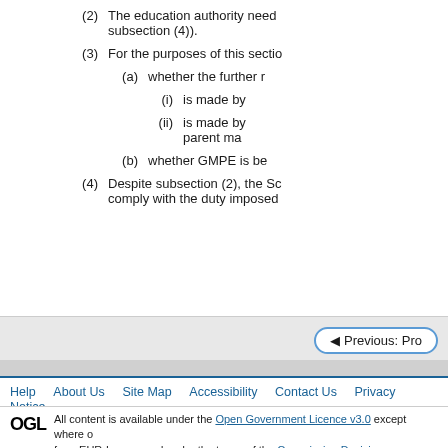(2) The education authority need subsection (4)).
(3) For the purposes of this section
(a) whether the further r
(i) is made by
(ii) is made by parent ma
(b) whether GMPE is be
(4) Despite subsection (2), the Sc comply with the duty imposed
[Figure (other): Navigation button: Previous: Pro]
Help  About Us  Site Map  Accessibility  Contact Us  Privacy Notice
All content is available under the Open Government Licence v3.0 except where o from EUR-Lex, reused under the terms of the Commission Decision 2011/833/EU on the reu see the EUR-Lex public statement on re-use.